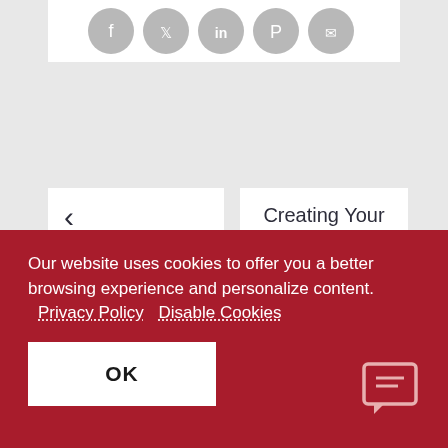[Figure (other): Social media sharing icons (Facebook, Twitter, LinkedIn, Pinterest, Email) as grey circles in a row]
The field Gen. Bus. Posting Group of table G/L Account contains a
Creating Your First SmartConnect Integration
Our website uses cookies to offer you a better browsing experience and personalize content. Privacy Policy Disable Cookies
OK